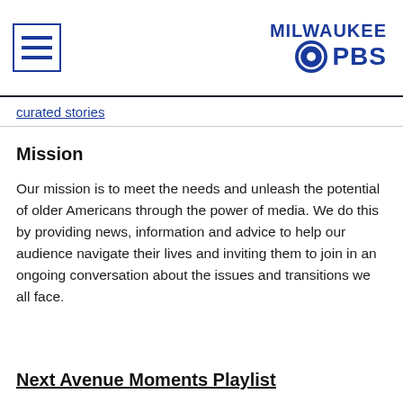Milwaukee PBS logo with hamburger menu
curated stories
Mission
Our mission is to meet the needs and unleash the potential of older Americans through the power of media. We do this by providing news, information and advice to help our audience navigate their lives and inviting them to join in an ongoing conversation about the issues and transitions we all face.
Next Avenue Moments Playlist